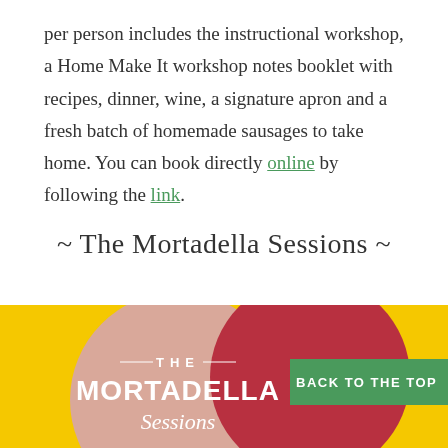per person includes the instructional workshop, a Home Make It workshop notes booklet with recipes, dinner, wine, a signature apron and a fresh batch of homemade sausages to take home. You can book directly online by following the link.
~ The Mortadella Sessions ~
[Figure (illustration): The Mortadella Sessions logo graphic on a bright yellow background. A large dusty rose/mauve circle overlaps with a dark red/crimson circle. Inside the left circle, white text reads 'THE MORTADELLA Sessions' in a stylized font. A green banner on the right reads 'BACK TO THE TOP'.]